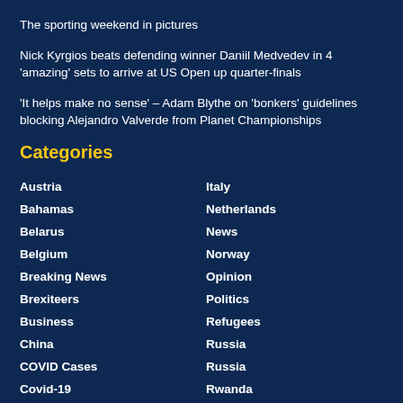The sporting weekend in pictures
Nick Kyrgios beats defending winner Daniil Medvedev in 4 'amazing' sets to arrive at US Open up quarter-finals
'It helps make no sense' – Adam Blythe on 'bonkers' guidelines blocking Alejandro Valverde from Planet Championships
Categories
Austria
Italy
Bahamas
Netherlands
Belarus
News
Belgium
Norway
Breaking News
Opinion
Brexiteers
Politics
Business
Refugees
China
Russia
COVID Cases
Russia
Covid-19
Rwanda